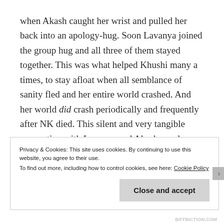when Akash caught her wrist and pulled her back into an apology-hug. Soon Lavanya joined the group hug and all three of them stayed together. This was what helped Khushi many a times, to stay afloat when all semblance of sanity fled and her entire world crashed. And her world did crash periodically and frequently after NK died. This silent and very tangible connection with Lavanya and Akash was her stronghold. It may have helped all three of them.
Privacy & Cookies: This site uses cookies. By continuing to use this website, you agree to their use.
To find out more, including how to control cookies, see here: Cookie Policy
Close and accept
BIFFBICTION.COM